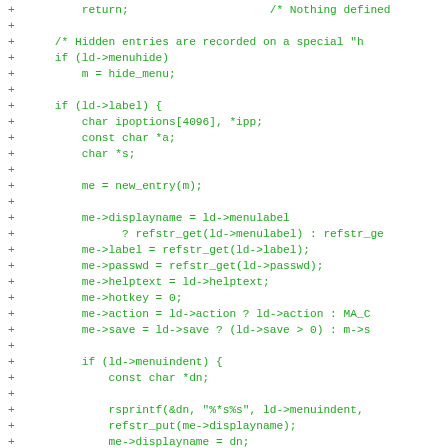Diff/code snippet showing C code addition with menu entry logic including hidden entries, label processing, displayname, passwd, helptext, hotkey, action, save, menuindent handling